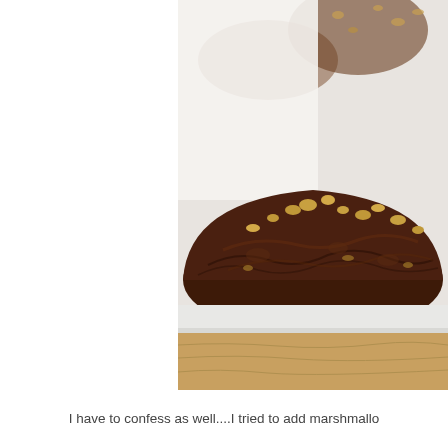[Figure (photo): Close-up photo of a dark chocolate cookie or brownie with chopped walnuts on top and visible inside the texture, placed on a white plate. Additional cookies are blurred in the background. The setup is on a wooden surface.]
I have to confess as well....I tried to add marshmallo